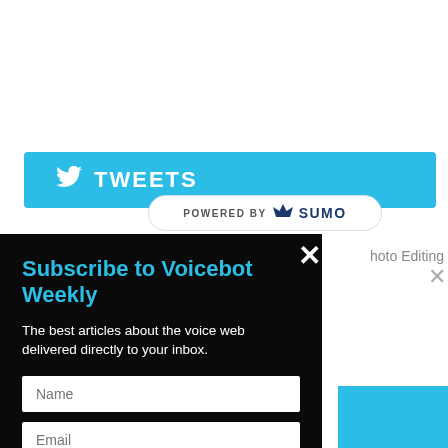TWEETS
POWERED BY SUMO
hoto Editing
Subscribe to Voicebot Weekly
The best articles about the voice web delivered directly to your inbox.
Name
Email
SUBSCRIBE